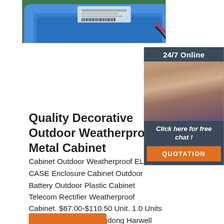[Figure (photo): Photo of a blue plastic tray/enclosure on a green surface with red and black wires with a blue connector, and a label/barcode sticker visible. This is a product photo for an outdoor weatherproof metal cabinet.]
[Figure (photo): Chat widget showing '24/7 Online' header in dark gray, a female customer service agent wearing a headset and smiling, and 'Click here for free chat!' text followed by an orange QUOTATION button.]
Quality Decorative Outdoor Weatherproof Metal Cabinet
Cabinet Outdoor Weatherproof ELEC-CASE Enclosure Cabinet Outdoor Battery Outdoor Plastic Cabinet Telecom Rectifier Weatherproof Cabinet. $67.00-$110.50 Unit. 1.0 Units (Min. Order) CN Guangdong Harwell Electrical Equipment Co., Ltd. 1 YRS. Contact Supplier. Ad. Add to Favorites.